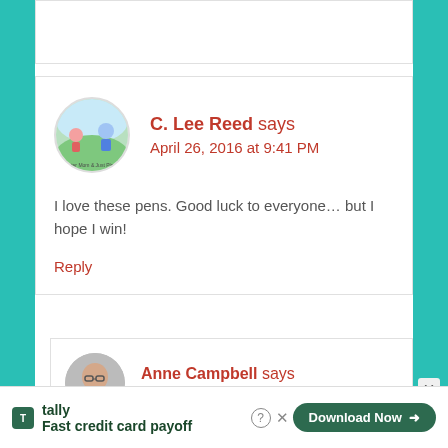C. Lee Reed says
April 26, 2016 at 9:41 PM
I love these pens. Good luck to everyone... but I hope I win!
Reply
Anne Campbell says
April 26, 2016 at 9:45 PM
Tally
Fast credit card payoff
Download Now